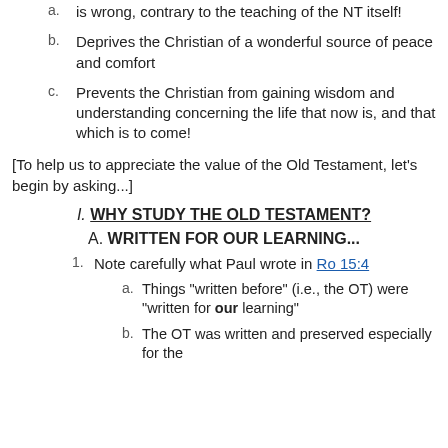a. is wrong, contrary to the teaching of the NT itself!
b. Deprives the Christian of a wonderful source of peace and comfort
c. Prevents the Christian from gaining wisdom and understanding concerning the life that now is, and that which is to come!
[To help us to appreciate the value of the Old Testament, let's begin by asking...]
I. WHY STUDY THE OLD TESTAMENT?
A. WRITTEN FOR OUR LEARNING...
1. Note carefully what Paul wrote in Ro 15:4
a. Things "written before" (i.e., the OT) were "written for our learning"
b. The OT was written and preserved especially for the